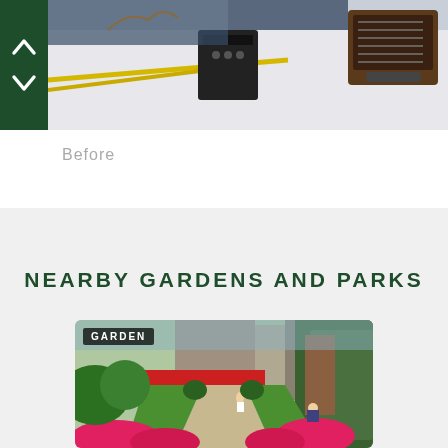[Figure (photo): Top photo showing items on a table with navigation arrows on the left side (dark green background with up and down chevrons)]
Before
NEARBY GARDENS AND PARKS
[Figure (photo): Garden photo showing a lush garden with green lawn, pink flowers in the foreground, trees and buildings in the background, and a GARDEN label badge in the top left corner]